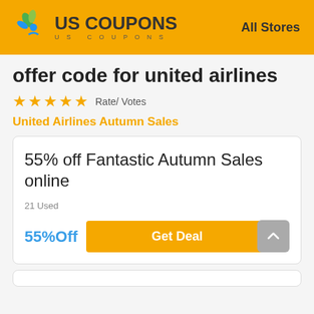US COUPONS   All Stores
offer code for united airlines
★★★★★  Rate/ Votes
United Airlines Autumn Sales
55% off Fantastic Autumn Sales online
21 Used
55%Off
Get Deal